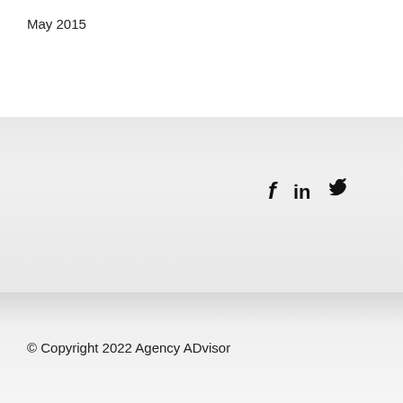May 2015
[Figure (other): Social media icons: Facebook (f), LinkedIn (in), Twitter (bird icon)]
© Copyright 2022 Agency ADvisor